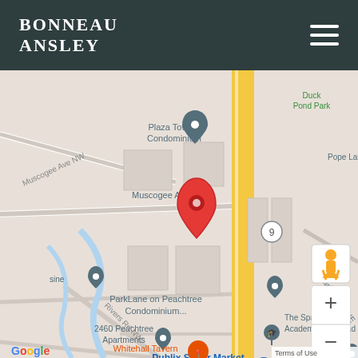BONNEAU ANSLEY
[Figure (map): Google Maps screenshot showing the area around Peachtree Battle/Muscogee Ave NW in Atlanta (Buckhead). Shows a red pin marker at approximately 2469 Peachtree Rd NW. Nearby labels include Plaza Towers Condominium, Duck Pond Park, Pope Land Company, Muscogee Ave NW, ParkLane on Peachtree Condominium, Parkside Dr NE, 2460 Peachtree Apartments, The Spanish Academy Buckhead, Publix Super Market at Peachtree Battle, Rivers Rd NW, Whitehall Tavern, WISH Pet Training. A yellow road (Peachtree Rd) runs vertically. Google logo and Terms of Use visible at bottom. Zoom controls (+/-) and pegman icon on right side.]